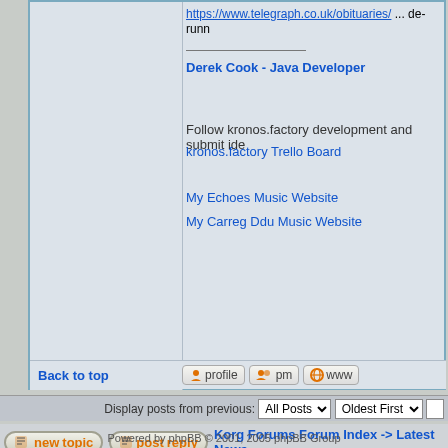https://www.telegraph.co.uk/obituaries/ ... de-runn
Derek Cook - Java Developer
Follow kronos.factory development and submit ide
kronos.factory Trello Board
My Echoes Music Website
My Carreg Ddu Music Website
Back to top
Display posts from previous: All Posts Oldest First G
newtopic   postreply   Korg Forums Forum Index -> Latest News
Page 1 of 1
Jump to: Latest News
You cann
You ca
You car
You canne
You c
Powered by phpBB © 2001, 2005 phpBB Group